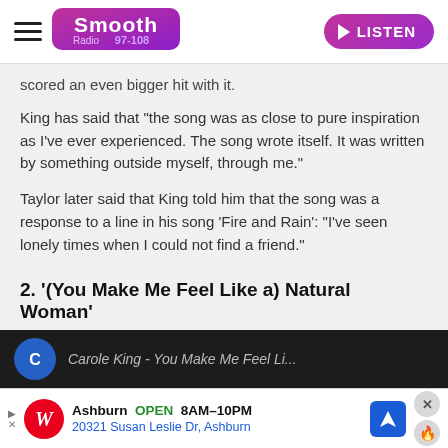Smooth Radio 97-108 | LISTEN
scored an even bigger hit with it.
King has said that "the song was as close to pure inspiration as I've ever experienced. The song wrote itself. It was written by something outside myself, through me."
Taylor later said that King told him that the song was a response to a line in his song 'Fire and Rain': "I've seen lonely times when I could not find a friend."
2. '(You Make Me Feel Like a) Natural Woman'
[Figure (screenshot): Video thumbnail showing Carole King - You Make Me Feel Like a Natural Woman on dark background with blue circle icon]
[Figure (screenshot): Advertisement banner for Walgreens in Ashburn: OPEN 8AM-10PM, 20321 Susan Leslie Dr, Ashburn]